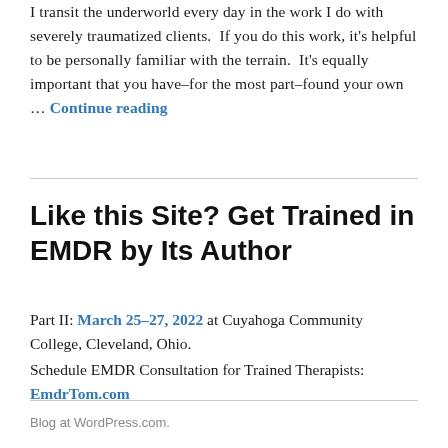I transit the underworld every day in the work I do with severely traumatized clients.  If you do this work, it's helpful to be personally familiar with the terrain.  It's equally important that you have–for the most part–found your own … Continue reading
Like this Site? Get Trained in EMDR by Its Author
Part II: March 25–27, 2022 at Cuyahoga Community College, Cleveland, Ohio.
Schedule EMDR Consultation for Trained Therapists: EmdrTom.com
Blog at WordPress.com.